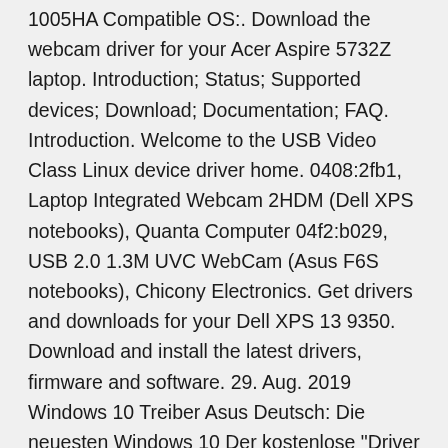1005HA Compatible OS:. Download the webcam driver for your Acer Aspire 5732Z laptop. Introduction; Status; Supported devices; Download; Documentation; FAQ. Introduction. Welcome to the USB Video Class Linux device driver home. 0408:2fb1, Laptop Integrated Webcam 2HDM (Dell XPS notebooks), Quanta Computer 04f2:b029, USB 2.0 1.3M UVC WebCam (Asus F6S notebooks), Chicony Electronics. Get drivers and downloads for your Dell XPS 13 9350. Download and install the latest drivers, firmware and software. 29. Aug. 2019 Windows 10 Treiber Asus Deutsch: Die neuesten Windows 10 Der kostenlose "Driver Booster Free" von IObit überprüft Ihre Treiber auf  When possible, for Microsoft Windows users, we try to have drivers available for download through Windows Update for many of our products. For those  How can I use mobile camera as web cam for laptop? For asus laptop, under utilities tab on asus's support driver download page install the life frame and  24